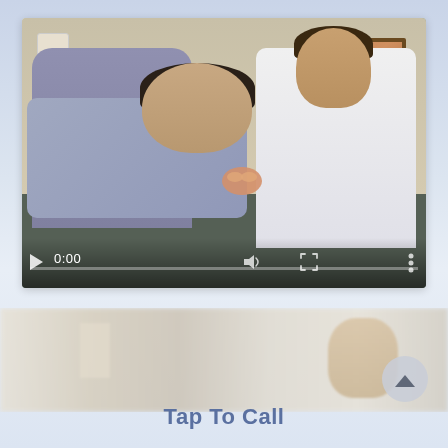[Figure (screenshot): A video player showing a dental office scene: a patient reclining in a chair while a smiling doctor in a white coat holds a dental model. Video controls show 0:00 timestamp, a progress bar at the bottom, volume and fullscreen icons. Below the video is a blurred preview strip showing the same scene, and an up-arrow scroll button on the right.]
Tap To Call